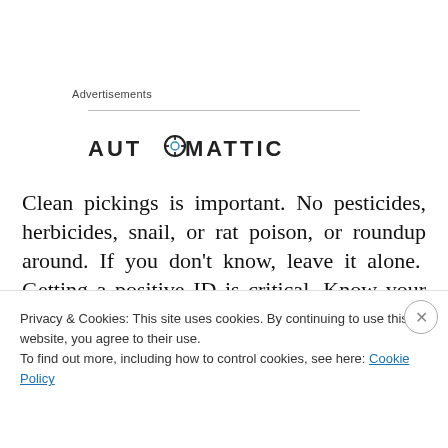Advertisements
[Figure (logo): Automattic logo — wordmark in dark grey with a compass-style 'O']
Clean pickings is important. No pesticides, herbicides, snail, or rat poison, or roundup around. If you don't know, leave it alone.  Getting a positive ID is critical. Know your plants. Mother Nature has a wonderful way of mimicking herself.  This is especially true in the mushroom
Privacy & Cookies: This site uses cookies. By continuing to use this website, you agree to their use.
To find out more, including how to control cookies, see here: Cookie Policy
Close and accept